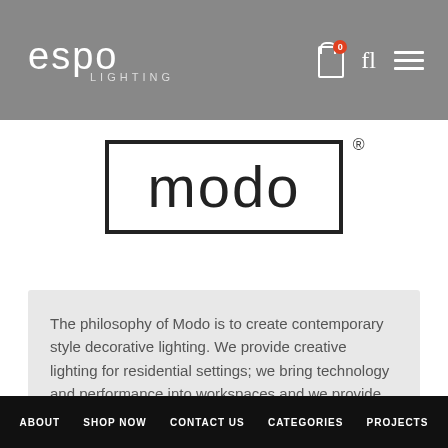espo LIGHTING
[Figure (logo): Modo brand logo: the word 'modo' in a rectangular border with registered trademark symbol]
The philosophy of Modo is to create contemporary style decorative lighting. We provide creative lighting for residential settings; we bring technology and performance into workspaces and we provide integrated solutions for the contract sector.
ABOUT   SHOP NOW   CONTACT US   CATEGORIES   PROJECTS